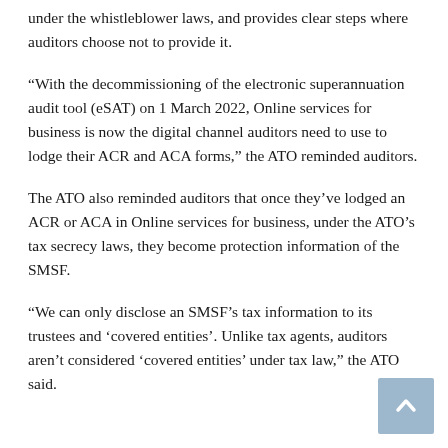under the whistleblower laws, and provides clear steps where auditors choose not to provide it.
“With the decommissioning of the electronic superannuation audit tool (eSAT) on 1 March 2022, Online services for business is now the digital channel auditors need to use to lodge their ACR and ACA forms,” the ATO reminded auditors.
The ATO also reminded auditors that once they’ve lodged an ACR or ACA in Online services for business, under the ATO’s tax secrecy laws, they become protection information of the SMSF.
“We can only disclose an SMSF’s tax information to its trustees and ‘covered entities’. Unlike tax agents, auditors aren’t considered ‘covered entities’ under tax law,” the ATO said.